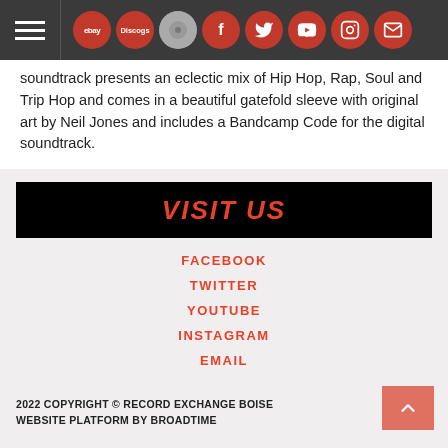Navigation bar with hamburger menu and social icons: ebay, Discogs, Facebook, Twitter, YouTube, Instagram, Email
soundtrack presents an eclectic mix of Hip Hop, Rap, Soul and Trip Hop and comes in a beautiful gatefold sleeve with original art by Neil Jones and includes a Bandcamp Code for the digital soundtrack.
VISIT US
FACEBOOK
TWITTER
YOUTUBE
INSTAGRAM
EMAIL
2022 COPYRIGHT © RECORD EXCHANGE BOISE
WEBSITE PLATFORM BY BROADTIME